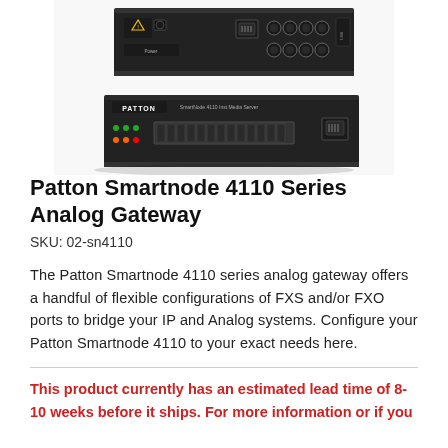[Figure (photo): Two stacked Patton Smartnode 4110 series analog gateway hardware devices, black rack-mount units with ports and indicators visible]
Patton Smartnode 4110 Series Analog Gateway
SKU: 02-sn4110
The Patton Smartnode 4110 series analog gateway offers a handful of flexible configurations of FXS and/or FXO ports to bridge your IP and Analog systems. Configure your Patton Smartnode 4110 to your exact needs here.
This product currently has an estimated lead time of 8-10 weeks before it ships. For more information or if you